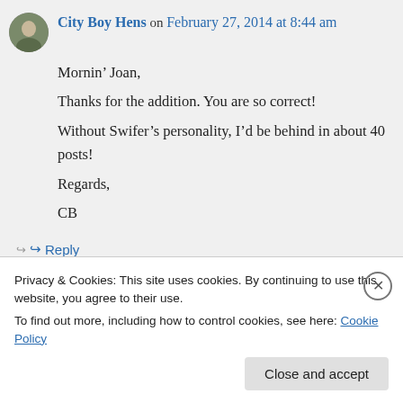[Figure (photo): Small circular avatar photo of a person]
City Boy Hens on February 27, 2014 at 8:44 am
Mornin' Joan,
Thanks for the addition. You are so correct!
Without Swifer's personality, I'd be behind in about 40 posts!
Regards,
CB
↳ Reply
Privacy & Cookies: This site uses cookies. By continuing to use this website, you agree to their use.
To find out more, including how to control cookies, see here: Cookie Policy
Close and accept